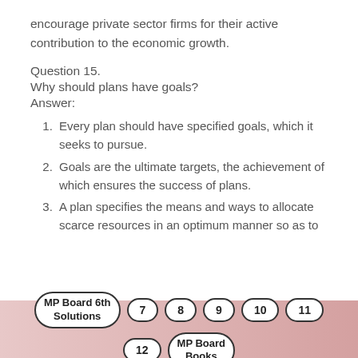encourage private sector firms for their active contribution to the economic growth.
Question 15.
Why should plans have goals?
Answer:
Every plan should have specified goals, which it seeks to pursue.
Goals are the ultimate targets, the achievement of which ensures the success of plans.
A plan specifies the means and ways to allocate scarce resources in an optimum manner so as to
MP Board 6th Solutions  7  8  9  10  11  12  MP Board Books